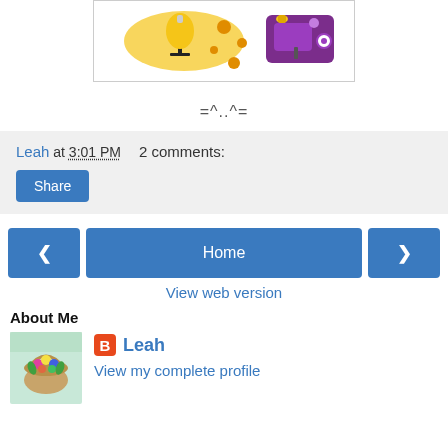[Figure (illustration): Sewing-themed illustration with a yellow dress form/mannequin with orange buttons on the left and a purple sewing machine on the right, on a white background with a thin border.]
=^..^=
Leah at 3:01 PM   2 comments:
Share
< Home >
View web version
About Me
[Figure (photo): Small profile photo showing a card or artwork with flowers in a basket on a light teal/mint background.]
Leah
View my complete profile